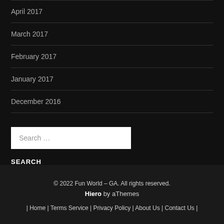April 2017
March 2017
February 2017
January 2017
December 2016
Search …
SEARCH
© 2022 Fun World – GA. All rights reserved.
Hiero by aThemes
| Home | Terms Service | Privacy Policy | About Us | Contact Us |